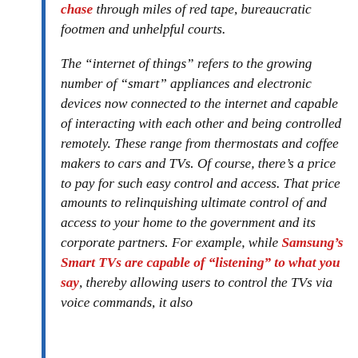chase through miles of red tape, bureaucratic footmen and unhelpful courts.
The “internet of things” refers to the growing number of “smart” appliances and electronic devices now connected to the internet and capable of interacting with each other and being controlled remotely. These range from thermostats and coffee makers to cars and TVs. Of course, there’s a price to pay for such easy control and access. That price amounts to relinquishing ultimate control of and access to your home to the government and its corporate partners. For example, while Samsung’s Smart TVs are capable of “listening” to what you say, thereby allowing users to control the TVs via voice commands, it also